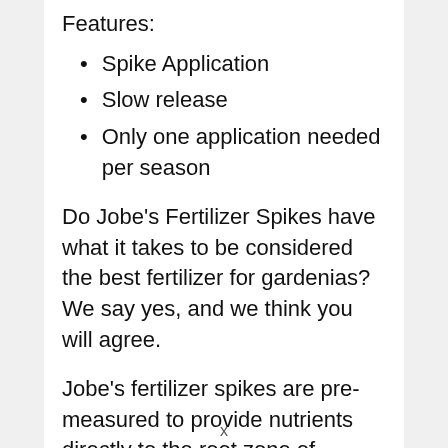Features:
Spike Application
Slow release
Only one application needed per season
Do Jobe’s Fertilizer Spikes have what it takes to be considered the best fertilizer for gardenias? We say yes, and we think you will agree.
Jobe’s fertilizer spikes are pre-measured to provide nutrients directly to the root zone of
x